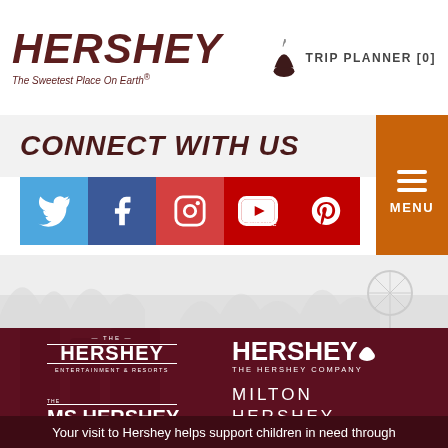[Figure (logo): Hershey logo with 'The Sweetest Place On Earth' tagline]
TRIP PLANNER [0]
CONNECT WITH US
[Figure (infographic): Social media icons: Twitter, Facebook, Instagram, YouTube, Pinterest]
[Figure (logo): Hershey Entertainment & Resorts logo]
[Figure (logo): HERSHEY The Hershey Company logo]
[Figure (logo): MS Hershey Foundation logo]
MILTON HERSHEY SCHOOL
Your visit to Hershey helps support children in need through